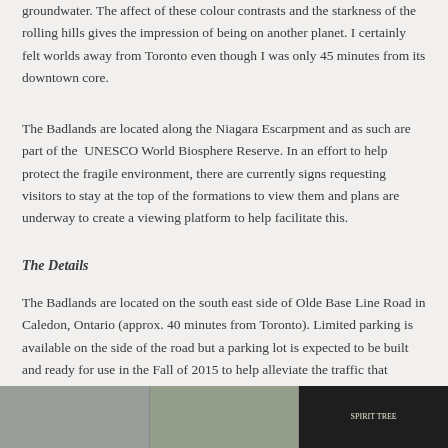groundwater. The affect of these colour contrasts and the starkness of the rolling hills gives the impression of being on another planet. I certainly felt worlds away from Toronto even though I was only 45 minutes from its downtown core.
The Badlands are located along the Niagara Escarpment and as such are part of the UNESCO World Biosphere Reserve. In an effort to help protect the fragile environment, there are currently signs requesting visitors to stay at the top of the formations to view them and plans are underway to create a viewing platform to help facilitate this.
The Details
The Badlands are located on the south east side of Olde Base Line Road in Caledon, Ontario (approx. 40 minutes from Toronto). Limited parking is available on the side of the road but a parking lot is expected to be built and ready for use in the Fall of 2015 to help alleviate the traffic that currently exists during the peak fall colours season.
[Figure (photo): Three side-by-side photographs at the bottom of the page: left shows a building with a dome/cupola roof against a cloudy sky, middle shows trees and green foliage, right shows a dark sign reading SPIRIT TREE with decorative elements.]